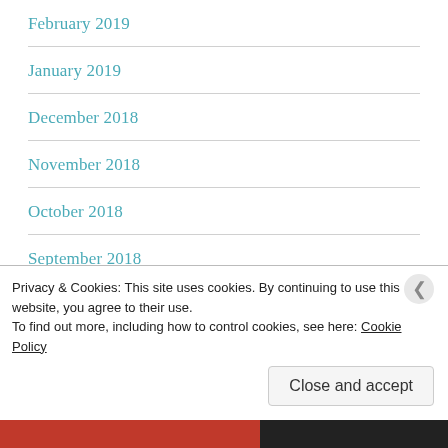February 2019
January 2019
December 2018
November 2018
October 2018
September 2018
August 2018
July 2018
Privacy & Cookies: This site uses cookies. By continuing to use this website, you agree to their use. To find out more, including how to control cookies, see here: Cookie Policy
Close and accept